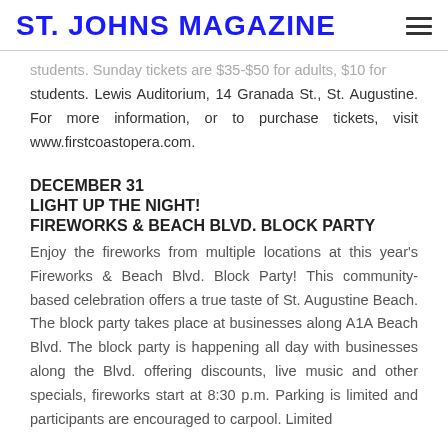ST. JOHNS MAGAZINE
students. Sunday tickets are $35-$50 for adults, $10 for students. Lewis Auditorium, 14 Granada St., St. Augustine. For more information, or to purchase tickets, visit www.firstcoastopera.com.
DECEMBER 31
LIGHT UP THE NIGHT!
FIREWORKS & BEACH BLVD. BLOCK PARTY
Enjoy the fireworks from multiple locations at this year's Fireworks & Beach Blvd. Block Party! This community-based celebration offers a true taste of St. Augustine Beach. The block party takes place at businesses along A1A Beach Blvd. The block party is happening all day with businesses along the Blvd. offering discounts, live music and other specials, fireworks start at 8:30 p.m. Parking is limited and participants are encouraged to carpool. Limited